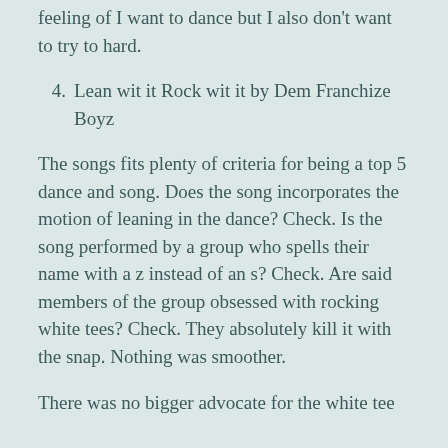feeling of I want to dance but I also don't want to try to hard.
4. Lean wit it Rock wit it by Dem Franchize Boyz
The songs fits plenty of criteria for being a top 5 dance and song. Does the song incorporates the motion of leaning in the dance? Check. Is the song performed by a group who spells their name with a z instead of an s? Check. Are said members of the group obsessed with rocking white tees? Check. They absolutely kill it with the snap. Nothing was smoother.
There was no bigger advocate for the white tee